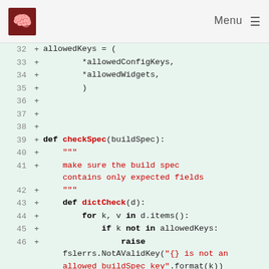Menu
[Figure (screenshot): Code diff showing Python source lines 32–48 with line numbers, plus signs, and syntax-highlighted code on a light green background.]